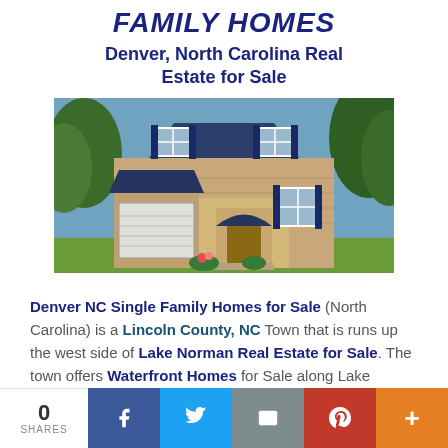FAMILY HOMES
Denver, North Carolina Real Estate for Sale
[Figure (photo): Large brick single-family home with dark blue shutters, two-car garage on the left, covered front porch with arched entry, set among trees.]
Denver NC Single Family Homes for Sale (North Carolina) is a Lincoln County, NC Town that is runs up the west side of Lake Norman Real Estate for Sale. The town offers Waterfront Homes for Sale along Lake
0 SHARES | Facebook | Twitter | Email | Pinterest | More